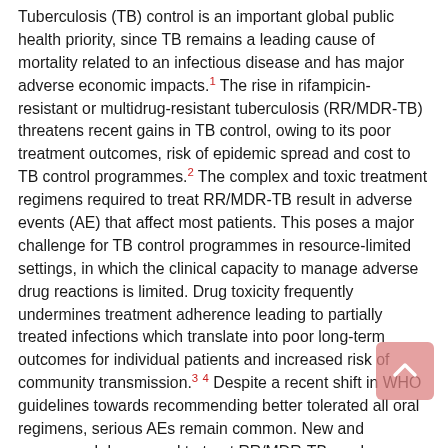Tuberculosis (TB) control is an important global public health priority, since TB remains a leading cause of mortality related to an infectious disease and has major adverse economic impacts.1 The rise in rifampicin-resistant or multidrug-resistant tuberculosis (RR/MDR-TB) threatens recent gains in TB control, owing to its poor treatment outcomes, risk of epidemic spread and cost to TB control programmes.2 The complex and toxic treatment regimens required to treat RR/MDR-TB result in adverse events (AE) that affect most patients. This poses a major challenge for TB control programmes in resource-limited settings, in which the clinical capacity to manage adverse drug reactions is limited. Drug toxicity frequently undermines treatment adherence leading to partially treated infections which translate into poor long-term outcomes for individual patients and increased risk of community transmission.3 4 Despite a recent shift in WHO guidelines towards recommending better tolerated all oral regimens, serious AEs remain common. New and repurposed drugs used to treat RR/MDR-TB, such as bedaquiline and linezolid, frequently cause bone marrow suppression, peripheral neuropathy and cardiac toxicity.5